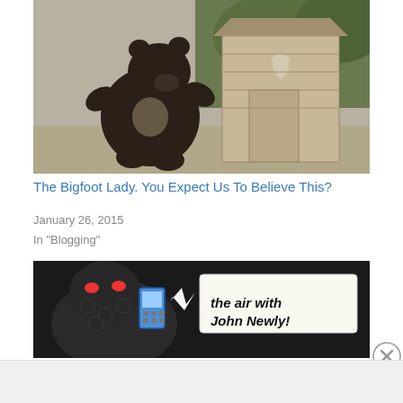[Figure (photo): A bear standing upright near a wooden outhouse structure, outdoors on sandy ground with green bushes in background]
The Bigfoot Lady. You Expect Us To Believe This?
January 26, 2015
In "Blogging"
[Figure (illustration): Dark illustration of a reptilian creature holding a mobile phone with comic-book speech bubble text reading 'the air with John Newly!']
Advertisements
[Figure (other): Bloomingdales advertisement banner: 'View Today's Top Deals!' with SHOP NOW > button and model in hat]